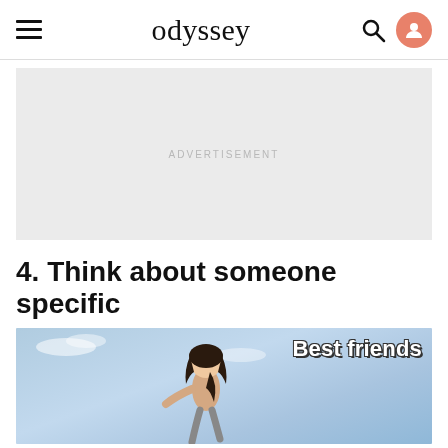odyssey
[Figure (other): Advertisement placeholder area with light gray background and 'ADVERTISEMENT' label in center]
4. Think about someone specific
[Figure (illustration): Anime-style animated GIF still showing a girl running toward the viewer against a blue sky background, with white bold text overlay reading 'Best friends']